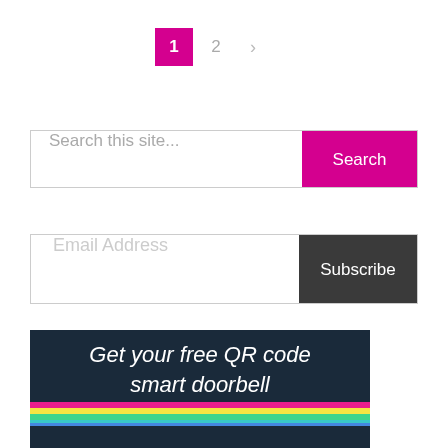1  2  >
Search this site...
Search
Email Address
Subscribe
[Figure (infographic): Advertisement banner with dark navy background showing white italic text 'Get your free QR code smart doorbell' with colorful horizontal stripes (pink, yellow, green, teal, blue) at the bottom]